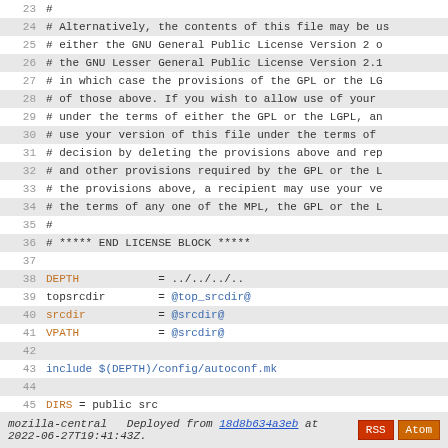Source code listing lines 23-51 of a Makefile with license block and build configuration
mozilla-central  Deployed from 18d8b634a3eb at 2022-06-27T19:41:43Z.